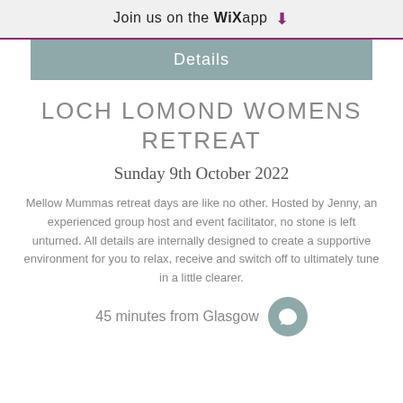Join us on the WiX app ⬇
Details
LOCH LOMOND WOMENS RETREAT
Sunday 9th October 2022
Mellow Mummas retreat days are like no other. Hosted by Jenny, an experienced group host and event facilitator, no stone is left unturned. All details are internally designed to create a supportive environment for you to relax, receive and switch off to ultimately tune in a little clearer.
45 minutes from Glasgow